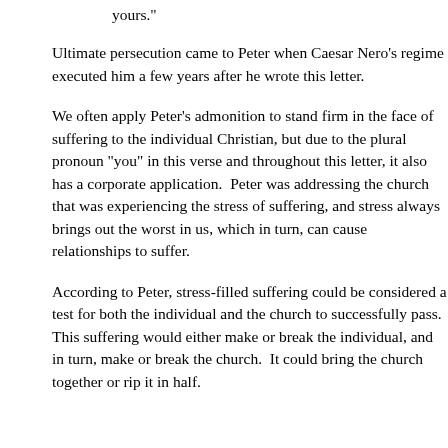yours."
Ultimate persecution came to Peter when Caesar Nero's regime executed him a few years after he wrote this letter.
We often apply Peter's admonition to stand firm in the face of suffering to the individual Christian, but due to the plural pronoun "you" in this verse and throughout this letter, it also has a corporate application. Peter was addressing the church that was experiencing the stress of suffering, and stress always brings out the worst in us, which in turn, can cause relationships to suffer.
According to Peter, stress-filled suffering could be considered a test for both the individual and the church to successfully pass. This suffering would either make or break the individual, and in turn, make or break the church. It could bring the church together or rip it in half.